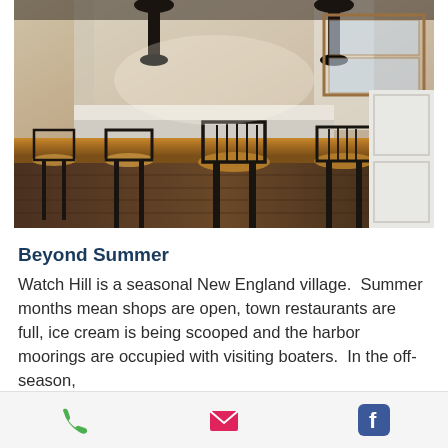[Figure (photo): Interior of a restaurant or inn dining area with a warm wooden bar/counter, black Windsor-style chairs, pendant lamps, and white cabinetry in the background]
Beyond Summer
Watch Hill is a seasonal New England village.  Summer months mean shops are open, town restaurants are full, ice cream is being scooped and the harbor moorings are occupied with visiting boaters.  In the off-season,
Phone | Email | Facebook icons